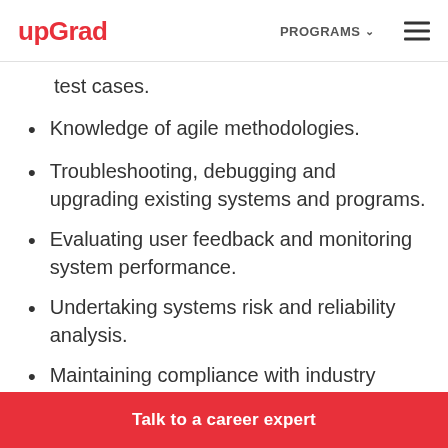upGrad | PROGRAMS
test cases.
Knowledge of agile methodologies.
Troubleshooting, debugging and upgrading existing systems and programs.
Evaluating user feedback and monitoring system performance.
Undertaking systems risk and reliability analysis.
Maintaining compliance with industry standards and ensuring software updates with
Talk to a career expert